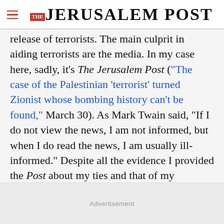THE JERUSALEM POST
release of terrorists. The main culprit in aiding terrorists are the media. In my case here, sadly, it's The Jerusalem Post ("The case of the Palestinian 'terrorist' turned Zionist whose bombing history can't be found," March 30). As Mark Twain said, "If I do not view the news, I am not informed, but when I do read the news, I am usually ill-informed." Despite all the evidence I provided the Post about my ties and that of my
Advertisement